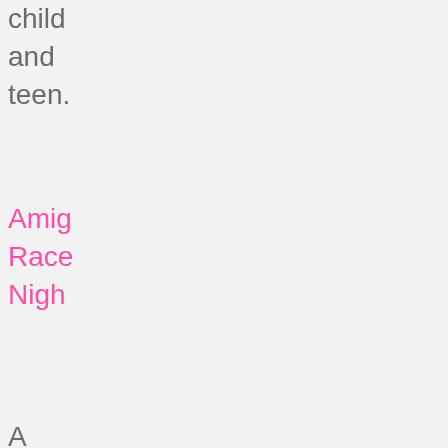child
and
teen.
Amig
Race
Nigh
A
supe
even
with
Tean
Amig
who
orga
a
race
nigh